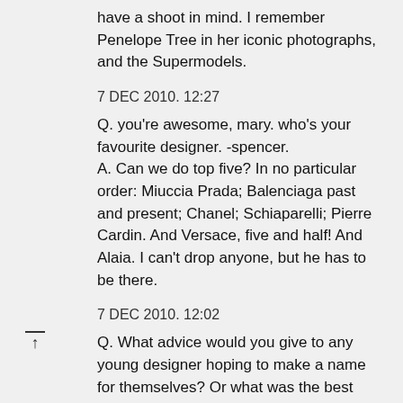have a shoot in mind. I remember Penelope Tree in her iconic photographs, and the Supermodels.
7 DEC 2010. 12:27
Q. you're awesome, mary. who's your favourite designer. -spencer.
A. Can we do top five? In no particular order: Miuccia Prada; Balenciaga past and present; Chanel; Schiaparelli; Pierre Cardin. And Versace, five and half! And Alaia. I can't drop anyone, but he has to be there.
7 DEC 2010. 12:02
Q. What advice would you give to any young designer hoping to make a name for themselves? Or what was the best advice you ever received.
A. The best advice I ever received was actually the most basic: to take it really seriously, and be